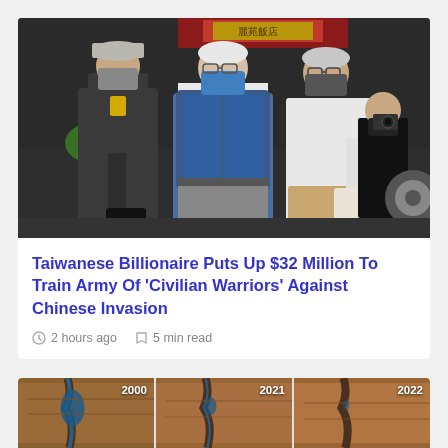[Figure (photo): Three men wearing face masks walking outside a building. The man in the center is elderly, wearing a blue bulletproof vest over a white shirt and grey pants. Left man wears dark grey shirt and cap, carries a black briefcase. Right man wears light shirt and khaki pants, carries a bag. A photographer is visible in the background.]
Taiwanese Billionaire Puts Up $32 Million To Train Army Of 'Civilian Warriors' Against Chinese Invasion
2 hours ago   5 min read
[Figure (photo): Three satellite images side by side labeled 2000, 2021, and 2022, showing what appears to be a body of water or reservoir shrinking over time in a desert/arid landscape.]